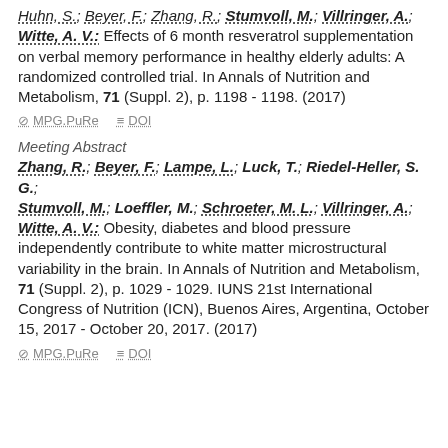Huhn, S.; Beyer, F.; Zhang, R.; Stumvoll, M.; Villringer, A.; Witte, A. V.: Effects of 6 month resveratrol supplementation on verbal memory performance in healthy elderly adults: A randomized controlled trial. In Annals of Nutrition and Metabolism, 71 (Suppl. 2), p. 1198 - 1198. (2017)
MPG.PuRe   DOI
Meeting Abstract
Zhang, R.; Beyer, F.; Lampe, L.; Luck, T.; Riedel-Heller, S. G.; Stumvoll, M.; Loeffler, M.; Schroeter, M. L.; Villringer, A.; Witte, A. V.: Obesity, diabetes and blood pressure independently contribute to white matter microstructural variability in the brain. In Annals of Nutrition and Metabolism, 71 (Suppl. 2), p. 1029 - 1029. IUNS 21st International Congress of Nutrition (ICN), Buenos Aires, Argentina, October 15, 2017 - October 20, 2017. (2017)
MPG.PuRe   DOI